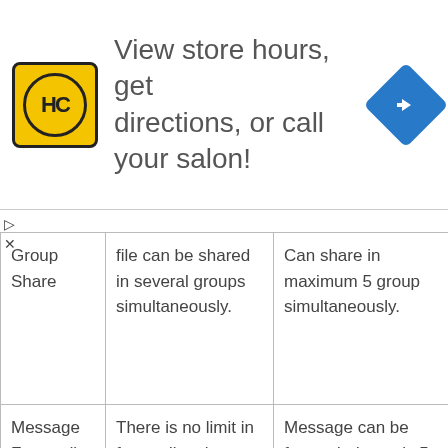[Figure (screenshot): Advertisement banner: HC logo (yellow background, circular border), text 'View store hours, get directions, or call your salon!', blue diamond navigation arrow icon on right]
| Group Share | file can be shared in several groups simultaneously. | Can share in maximum 5 group simultaneously. |
| Message Forwarding | There is no limit in forwarding the message. | Message can be forwarded to only 5 users at a time from the official app. |
|  | This is not a |  |